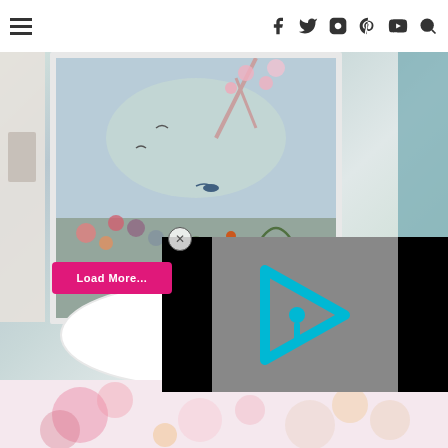Navigation header with hamburger menu and social icons: Facebook, Twitter, Instagram, Pinterest, YouTube, Search
[Figure (photo): Bathroom scene with a freestanding white bathtub and decorative floral/nature mural wallpaper featuring birds, flowers, and trees. A video player overlay is visible with a cyan/teal play button logo on a gray background with black letterbox bars. A close (X) button is shown. Below the main image is a 'Load More...' pink button.]
[Figure (photo): Partial bottom strip showing a blurred floral image in pink and pastel tones.]